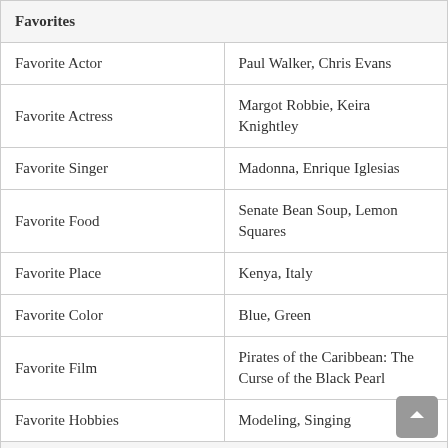| Category | Value |
| --- | --- |
| Favorites |  |
| Favorite Actor | Paul Walker, Chris Evans |
| Favorite Actress | Margot Robbie, Keira Knightley |
| Favorite Singer | Madonna, Enrique Iglesias |
| Favorite Food | Senate Bean Soup, Lemon Squares |
| Favorite Place | Kenya, Italy |
| Favorite Color | Blue, Green |
| Favorite Film | Pirates of the Caribbean: The Curse of the Black Pearl |
| Favorite Hobbies | Modeling, Singing |
| Money Factor |  |
| Salary/Income (approx.) | $700-800K (annual) |